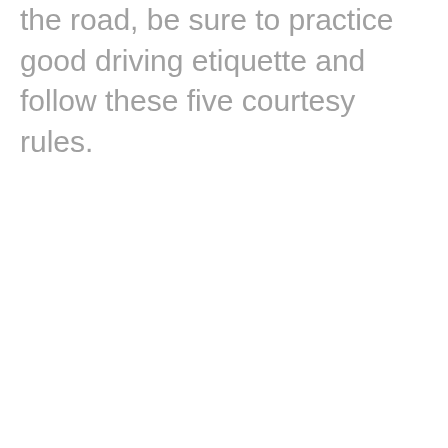the road, be sure to practice good driving etiquette and follow these five courtesy rules.